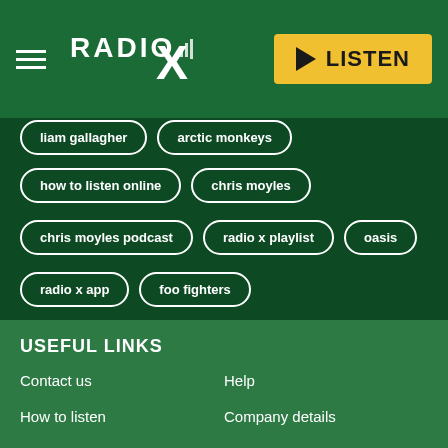[Figure (logo): Radio X logo with hamburger menu and LISTEN button]
liam gallagher
arctic monkeys
how to listen online
chris moyles
chris moyles podcast
radio x playlist
oasis
radio x app
foo fighters
USEFUL LINKS
Contact us
Help
How to listen
Company details